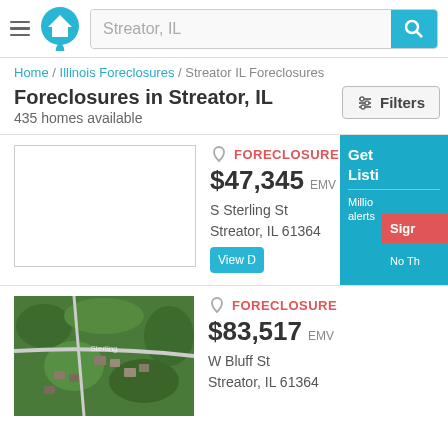Streator, IL — search header with logo and search bar
Home / Illinois Foreclosures / Streator IL Foreclosures
Foreclosures in Streator, IL
435 homes available
Filters
[Figure (screenshot): Listing card 1: FORECLOSURE, $47,345 EMV, S Sterling St, Streator, IL 61364, blank photo placeholder]
[Figure (screenshot): Listing card 2: FORECLOSURE, $83,517 EMV, W Bluff St, Streator, IL 61364, aerial map photo]
Get Listi... Millio... alerts... Sign... No Th...